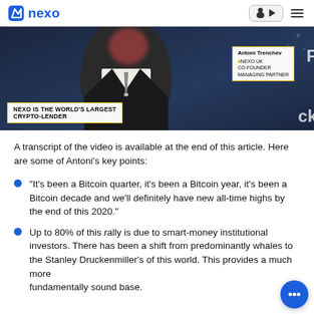nexo
[Figure (screenshot): Bloomberg TV screenshot showing Antoni Trenchev, NEXO UK Co-Founder Managing Partner, with lower third text: NEXO IS THE WORLD'S LARGEST CRYPTO-LENDER]
A transcript of the video is available at the end of this article. Here are some of Antoni's key points:
“It’s been a Bitcoin quarter, it’s been a Bitcoin year, it’s been a Bitcoin decade and we’ll definitely have new all-time highs by the end of this 2020.”
Up to 80% of this rally is due to smart-money institutional investors. There has been a shift from predominantly whales to the Stanley Druckenmiller’s of this world. This provides a much more fundamentally sound base.